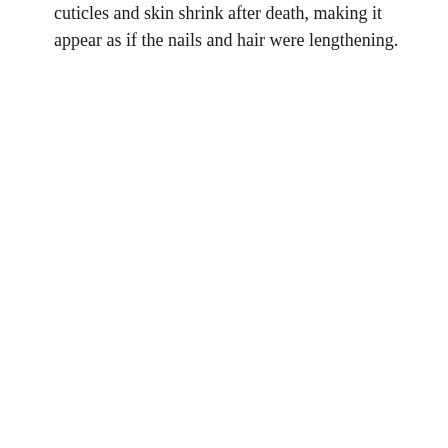cuticles and skin shrink after death, making it appear as if the nails and hair were lengthening.